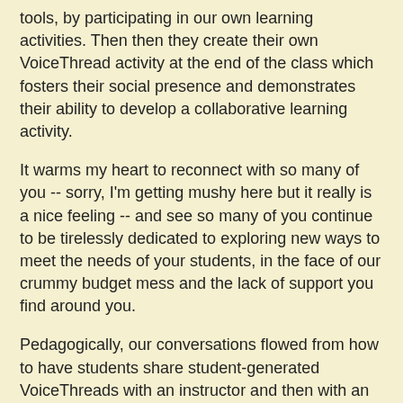tools, by participating in our own learning activities. Then then they create their own VoiceThread activity at the end of the class which fosters their social presence and demonstrates their ability to develop a collaborative learning activity.
It warms my heart to reconnect with so many of you -- sorry, I'm getting mushy here but it really is a nice feeling -- and see so many of you continue to be tirelessly dedicated to exploring new ways to meet the needs of your students, in the face of our crummy budget mess and the lack of support you find around you.
Pedagogically, our conversations flowed from how to have students share student-generated VoiceThreads with an instructor and then with an entire class to comparing VoiceThread to a discussion forum, and reflecting on how to use VoiceThread in conjunction with other assessment tools (like blogs, traditional assessments, papers, etc.) to scaffold learning up through the highest levels of critical thinking.
Next Month